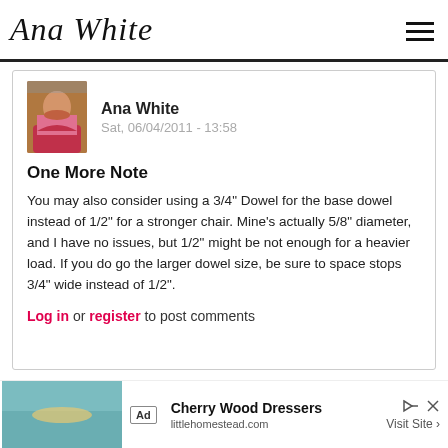Ana White
[Figure (photo): Avatar photo of Ana White, a woman in a pink/magenta scarf outdoors]
Ana White
Sat, 06/04/2011 - 13:58
One More Note
You may also consider using a 3/4" Dowel for the base dowel instead of 1/2" for a stronger chair. Mine's actually 5/8" diameter, and I have no issues, but 1/2" might be not enough for a heavier load. If you do go the larger dowel size, be sure to space stops 3/4" wide instead of 1/2".
Log in or register to post comments
[Figure (infographic): Advertisement banner: Cherry Wood Dressers - littlehomestead.com - Visit Site]